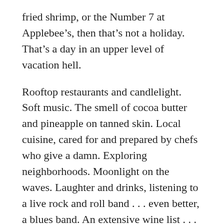fried shrimp, or the Number 7 at Applebee's, then that's not a holiday. That's a day in an upper level of vacation hell.
Rooftop restaurants and candlelight. Soft music. The smell of cocoa butter and pineapple on tanned skin. Local cuisine, cared for and prepared by chefs who give a damn. Exploring neighborhoods. Moonlight on the waves. Laughter and drinks, listening to a live rock and roll band . . . even better, a blues band. An extensive wine list . . . and North Carolina wines are not allowed. Playing, and learning, eating at places, having fun . . . doing things that are absolutely unique to that place, and completely different from the day in, day out.
And if a place isn't unique, then why bother?
My cousin in Ohio posted this on Facebook, talking